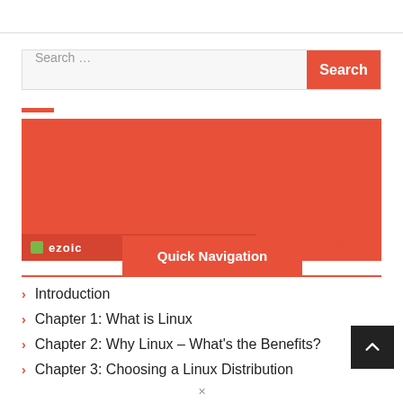Search ...
[Figure (other): Ezoic advertisement block with red background]
Quick Navigation
Introduction
Chapter 1: What is Linux
Chapter 2: Why Linux – What's the Benefits?
Chapter 3: Choosing a Linux Distribution